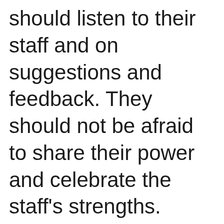should listen to their staff and on suggestions and feedback. They should not be afraid to share their power and celebrate the staff's strengths. Then, I would look at the school ethos and how they work in practice. I like schools that work on developing the whole child and have a family feel. Furthermore, I love when schools embrace becoming 'eco' schools